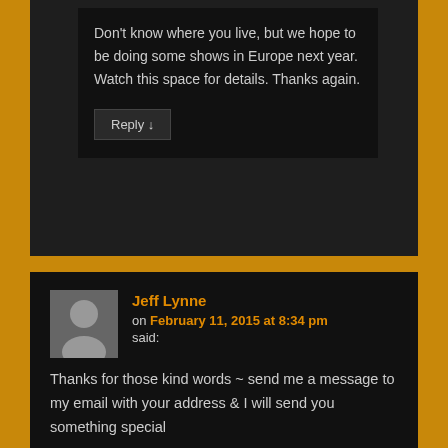Don't know where you live, but we hope to be doing some shows in Europe next year. Watch this space for details. Thanks again.
Reply ↓
Jeff Lynne on February 11, 2015 at 8:34 pm said:
Thanks for those kind words ~ send me a message to my email with your address & I will send you something special